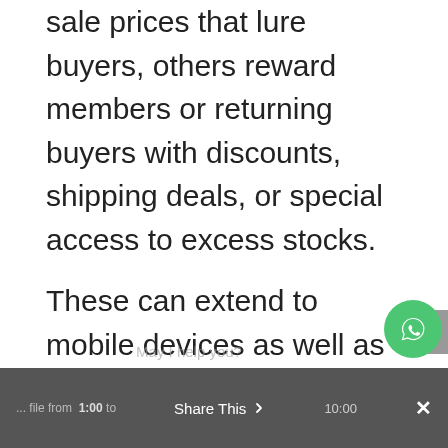sale prices that lure buyers, others reward members or returning buyers with discounts, shipping deals, or special access to excess stocks.
These can extend to mobile devices as well as app builders or software-as-a-service (SaaS) developers offering lifetime deals for new software products on websites like AppSumo to generate revenue – and determine popularity – all while in early development stages.
Examples deal websites and limited offer pages